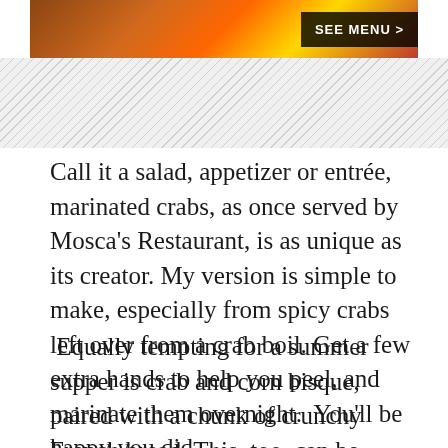[Figure (photo): Food photo banner showing seafood/crabs with a black 'SEE MENU >' button overlay on the right side]
Call it a salad, appetizer or entrée, marinated crabs, as once served by Mosca's Restaurant, is as unique as its creator. My version is simple to make, especially from spicy crabs left over from a crab boil. Get a few extra hands to help you peel, and marinate them overnight.  You'll be happy you did.
Equally tempting for a summer supper is crab and corn bisque, paired with a chunk of crunchy French bread. This, too, can be made from crab-boil leftovers, but if you don't mind